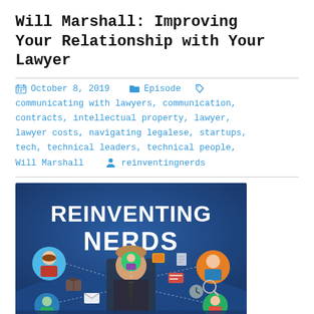Will Marshall: Improving Your Relationship with Your Lawyer
October 8, 2019   Episode   communicating with lawyers, communication, contracts, intellectual property, lawyer, lawyer costs, navigating legalese, startups, tech, technical leaders, technical people, Will Marshall   reinventingnerds
[Figure (photo): Reinventing Nerds podcast cover image showing a man in a suit surrounded by illustrated diverse people avatars connected by dotted lines on a blue background with 'REINVENTING NERDS' text in large white letters]